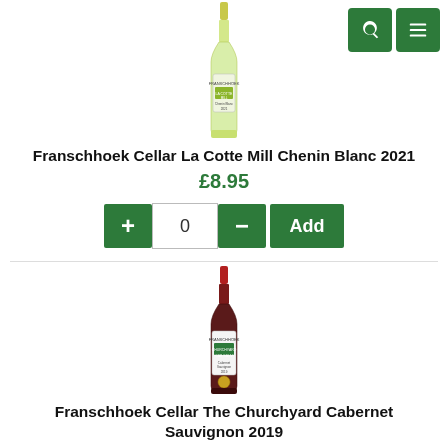[Figure (photo): A bottle of Franschhoek Cellar La Cotte Mill Chenin Blanc 2021 white wine, with green/yellow wine and a white label, shown vertically.]
Franschhoek Cellar La Cotte Mill Chenin Blanc 2021
£8.95
[Figure (screenshot): Add to cart UI: green + button, quantity input showing 0, green - button, green Add button.]
[Figure (photo): A bottle of Franschhoek Cellar The Churchyard Cabernet Sauvignon 2019 red wine, with a red foil top and white label, shown vertically.]
Franschhoek Cellar The Churchyard Cabernet Sauvignon 2019